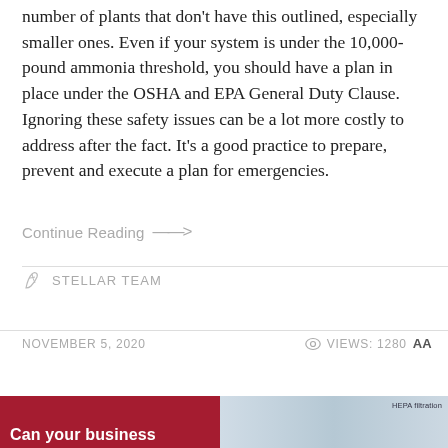number of plants that don't have this outlined, especially smaller ones. Even if your system is under the 10,000-pound ammonia threshold, you should have a plan in place under the OSHA and EPA General Duty Clause. Ignoring these safety issues can be a lot more costly to address after the fact. It's a good practice to prepare, prevent and execute a plan for emergencies.
Continue Reading →
STELLAR TEAM
NOVEMBER 5, 2020
VIEWS: 1280
[Figure (screenshot): Bottom strip with red section showing 'Can your business' text and a light blue/grey image section with 'HEPA filtration' label]